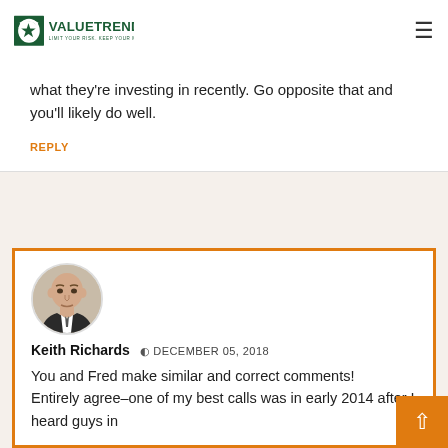[Figure (logo): ValueTrend logo — green circular/bracket icon with VALUETREND text in dark green and tagline 'LIMIT YOUR RISK. KEEP YOUR MONEY.' below]
what they're investing in recently. Go opposite that and you'll likely do well.
REPLY
[Figure (photo): Circular avatar photo of bald man (Keith Richards) in dark jacket against light background]
Keith Richards  DECEMBER 05, 2018
You and Fred make similar and correct comments!
Entirely agree–one of my best calls was in early 2014 after I heard guys in